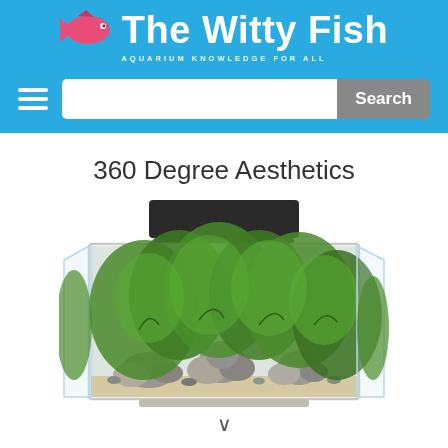The Witty Fish — AQUARIUM KNOWLEDGE FOR ALL
[Figure (logo): The Witty Fish website logo with pink fish icon and white bold text 'The Witty Fish' on blue background, tagline 'AQUARIUM KNOWLEDGE FOR ALL']
[Figure (screenshot): Navigation bar with hamburger menu icon and search box with 'Search' button on blue background]
360 Degree Aesthetics
[Figure (photo): A rimless glass aquarium tank with lush green aquatic plants, rocks/stones arranged as aquascape, black lid/filter unit on top, white/sandy substrate at bottom]